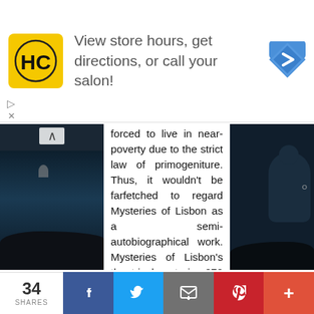[Figure (other): Advertisement banner: HC logo (yellow square with HC text), text 'View store hours, get directions, or call your salon!', blue diamond navigation icon on right]
forced to live in near-poverty due to the strict law of primogeniture. Thus, it wouldn't be farfetched to regard Mysteries of Lisbon as a semi-autobiographical work. Mysteries of Lisbon's theatrical cut is 272 minutes long and can pose a serious challenge to the viewers. In some countries, it was played as a six episode miniseries in 55-minute installments. But, not a second of it is boring by any means. Mysteries of Lisbon does require patience to begin with but slowly it begins to cast its spell on the viewer, teleporting him to a world of breathtaking imagery, turbulent emotions, extraordinary coincidences, endless ambiguities, and shape-shifting characters. Vintage Ruiz, Mysteries of
34 SHARES  [Facebook] [Twitter] [Email] [Pinterest] [More]